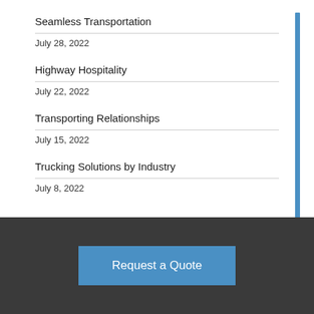Seamless Transportation
July 28, 2022
Highway Hospitality
July 22, 2022
Transporting Relationships
July 15, 2022
Trucking Solutions by Industry
July 8, 2022
Request a Quote